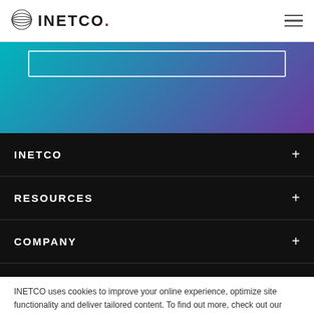INETCO
[Figure (other): Gradient banner with teal to purple background and a search/input box outline]
INETCO
RESOURCES
COMPANY
INETCO uses cookies to improve your online experience, optimize site functionality and deliver tailored content. To find out more, check out our Privacy Policy.
Accept Cookies